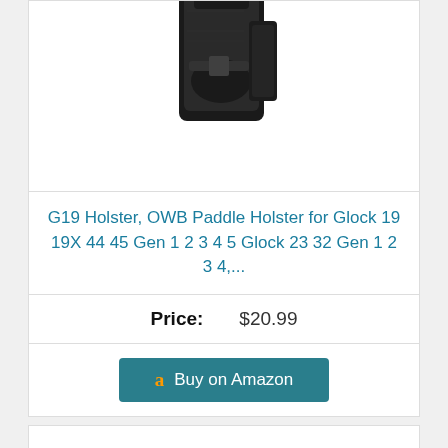[Figure (photo): Black OWB paddle holster for Glock, partially visible at top of page]
G19 Holster, OWB Paddle Holster for Glock 19 19X 44 45 Gen 1 2 3 4 5 Glock 23 32 Gen 1 2 3 4,...
Price: $20.99
Buy on Amazon
7
[Figure (photo): Bottom of next product image, partially visible]